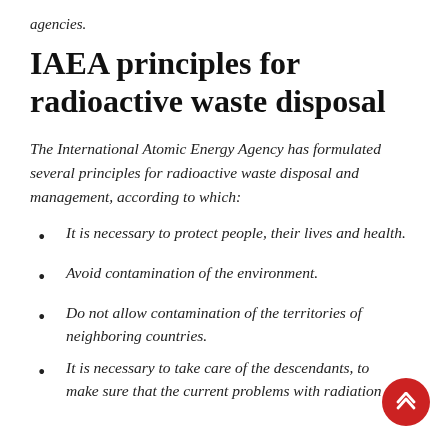agencies.
IAEA principles for radioactive waste disposal
The International Atomic Energy Agency has formulated several principles for radioactive waste disposal and management, according to which:
It is necessary to protect people, their lives and health.
Avoid contamination of the environment.
Do not allow contamination of the territories of neighboring countries.
It is necessary to take care of the descendants, to make sure that the current problems with radiation do